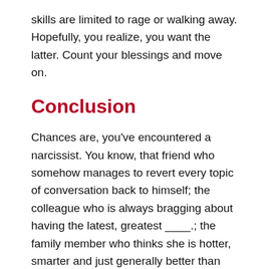skills are limited to rage or walking away. Hopefully, you realize, you want the latter. Count your blessings and move on.
Conclusion
Chances are, you've encountered a narcissist. You know, that friend who somehow manages to revert every topic of conversation back to himself; the colleague who is always bragging about having the latest, greatest ____.; the family member who thinks she is hotter, smarter and just generally better than you at everything.
But sometimes the signs of narcissism are a little more nuanced. They're not always as obvious as media depictions would have you believe. And yes, it's